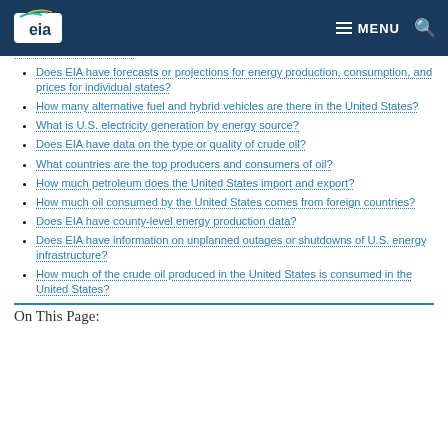EIA — MENU
Does EIA have forecasts or projections for energy production, consumption, and prices for individual states?
How many alternative fuel and hybrid vehicles are there in the United States?
What is U.S. electricity generation by energy source?
Does EIA have data on the type or quality of crude oil?
What countries are the top producers and consumers of oil?
How much petroleum does the United States import and export?
How much oil consumed by the United States comes from foreign countries?
Does EIA have county-level energy production data?
Does EIA have information on unplanned outages or shutdowns of U.S. energy infrastructure?
How much of the crude oil produced in the United States is consumed in the United States?
On This Page: